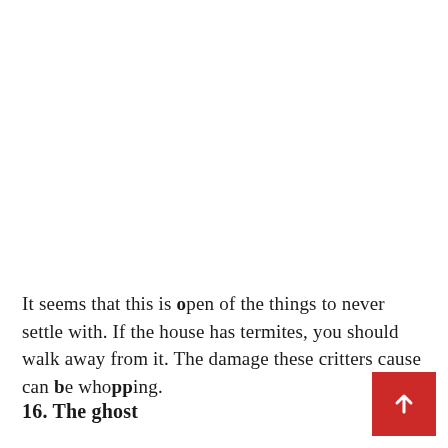It seems that this is open of the things to never settle with. If the house has termites, you should walk away from it. The damage these critters cause can be whopping.
16. The ghost